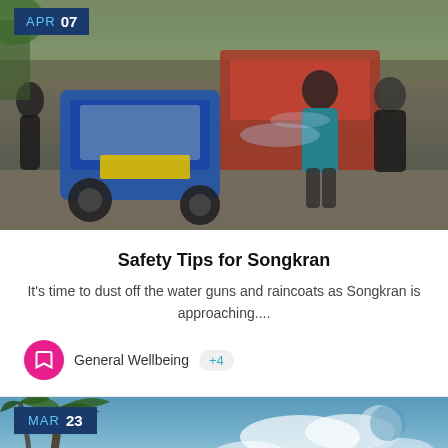[Figure (photo): Street scene with people playing Songkran water festival, tuk-tuk vehicle visible, date badge APR 07 in top left corner]
Safety Tips for Songkran
It's time to dust off the water guns and raincoats as Songkran is approaching....
General Wellbeing  +4
[Figure (photo): Blue sky with palm trees, date badge MAR 23 in top left corner]